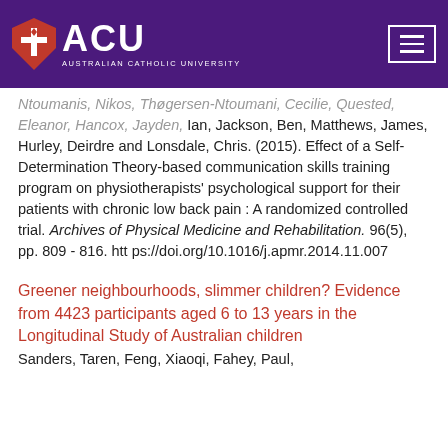ACU Australian Catholic University
Ntoumanis, Nikos, Thøgersen-Ntoumani, Cecilie, Quested, Eleanor, Hancox, Jayden, Ian, Jackson, Ben, Matthews, James, Hurley, Deirdre and Lonsdale, Chris. (2015). Effect of a Self-Determination Theory-based communication skills training program on physiotherapists' psychological support for their patients with chronic low back pain : A randomized controlled trial. Archives of Physical Medicine and Rehabilitation. 96(5), pp. 809 - 816. https://doi.org/10.1016/j.apmr.2014.11.007
Greener neighbourhoods, slimmer children? Evidence from 4423 participants aged 6 to 13 years in the Longitudinal Study of Australian children
Sanders, Taren, Feng, Xiaoqi, Fahey, Paul,